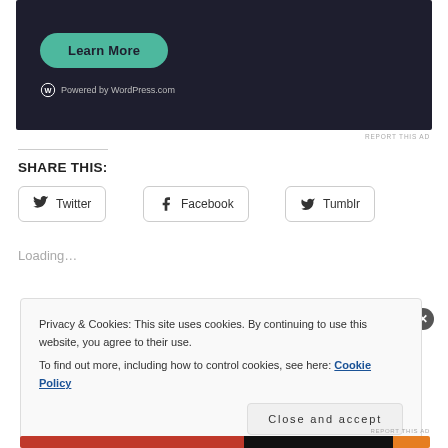[Figure (screenshot): Dark-themed advertisement banner with a teal 'Learn More' button and 'Powered by WordPress.com' text at bottom]
REPORT THIS AD
SHARE THIS:
Twitter
Facebook
Tumblr
Loading...
Privacy & Cookies: This site uses cookies. By continuing to use this website, you agree to their use.
To find out more, including how to control cookies, see here: Cookie Policy
Close and accept